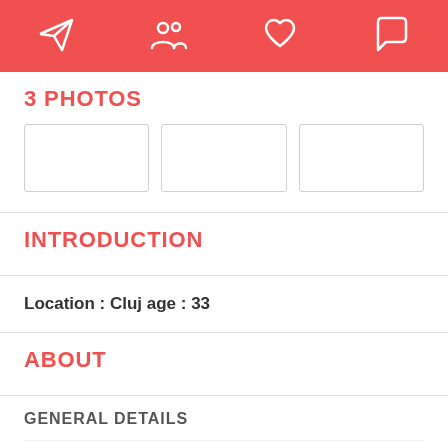[Navigation bar with icons: send/paper-plane, people/friends, heart/favorites, chat/messages]
3 PHOTOS
[Figure (other): Three empty photo placeholder boxes arranged in a row]
INTRODUCTION
Location : Cluj age : 33
ABOUT
GENERAL DETAILS
Age   32